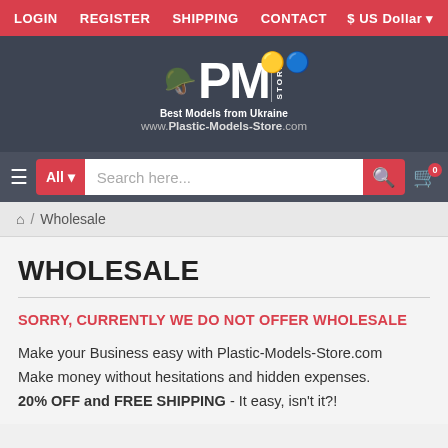LOGIN  REGISTER  SHIPPING  CONTACT  $ US Dollar
[Figure (logo): PM Store logo with tank illustration, Ukrainian flag, text 'Best Models from Ukraine' and URL www.Plastic-Models-Store.com]
[Figure (screenshot): Search bar with All category dropdown, search input placeholder 'Search here...', search button, and cart icon with 0 badge]
Home / Wholesale
WHOLESALE
SORRY, CURRENTLY WE DO NOT OFFER WHOLESALE
Make your Business easy with Plastic-Models-Store.com Make money without hesitations and hidden expenses. 20% OFF and FREE SHIPPING - It easy, isn't it?!